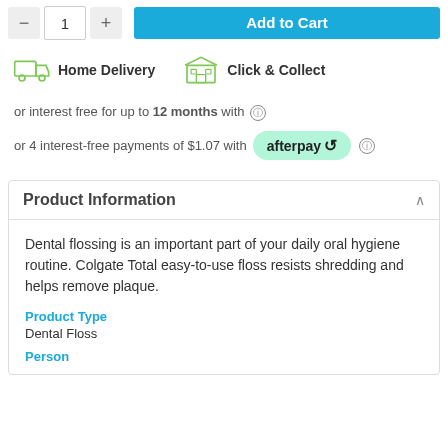[Figure (screenshot): Quantity selector buttons (minus, 1, plus) and blue Add to Cart button]
[Figure (infographic): Home Delivery icon (truck, green outline) and Click & Collect icon (store, green outline) with labels]
or interest free for up to 12 months with ⓘ
or 4 interest-free payments of $1.07 with afterpay ⓘ
Product Information
Dental flossing is an important part of your daily oral hygiene routine. Colgate Total easy-to-use floss resists shredding and helps remove plaque.
Product Type
Dental Floss
Person